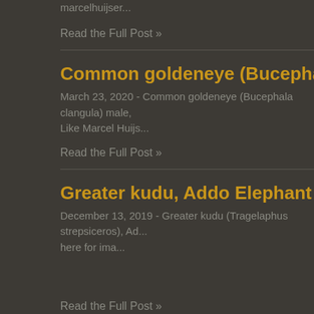marcelhuijser...
Read the Full Post »
Common goldeneye (Bucephala clangula) ma...
March 23, 2020 - Common goldeneye (Bucephala clangula) male, Like Marcel Huijs...
Read the Full Post »
Greater kudu, Addo Elephant National Park, S...
December 13, 2019 - Greater kudu (Tragelaphus strepsiceros), Ad... here for ima...
Read the Full Post »